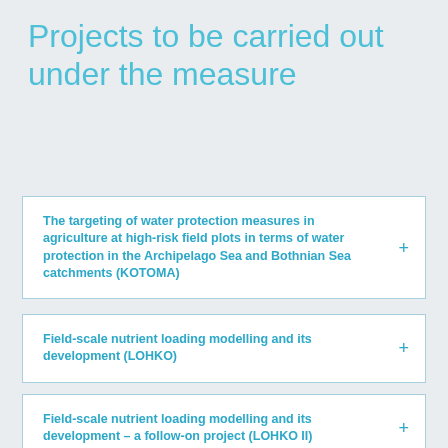Projects to be carried out under the measure
The targeting of water protection measures in agriculture at high-risk field plots in terms of water protection in the Archipelago Sea and Bothnian Sea catchments (KOTOMA)
Field-scale nutrient loading modelling and its development (LOHKO)
Field-scale nutrient loading modelling and its development – a follow-on project (LOHKO II)